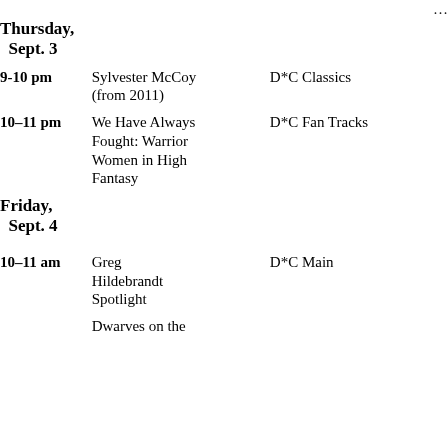Thursday, Sept. 3
9-10 pm | Sylvester McCoy (from 2011) | D*C Classics
10-11 pm | We Have Always Fought: Warrior Women in High Fantasy | D*C Fan Tracks
Friday, Sept. 4
10–11 am | Greg Hildebrandt Spotlight | D*C Main
Dwarves on the